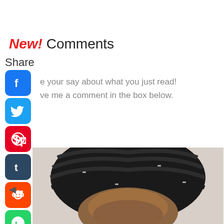New! Comments
Share
e your say about what you just read! ve me a comment in the box below.
[Figure (photo): Photo of person with box braids viewed from above/front, showing top of head and forehead]
[Figure (infographic): Social media share buttons: Facebook, Twitter, Pinterest, Tumblr, Reddit, WhatsApp]